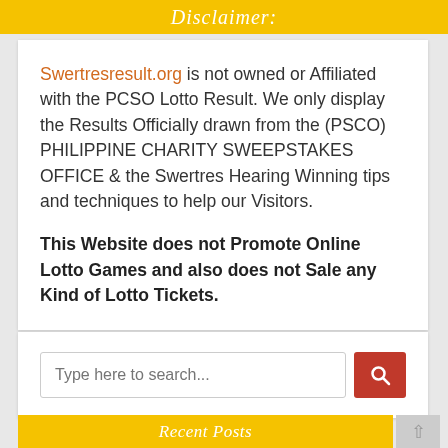Disclaimer:
Swertresresult.org is not owned or Affiliated with the PCSO Lotto Result. We only display the Results Officially drawn from the (PSCO) PHILIPPINE CHARITY SWEEPSTAKES OFFICE & the Swertres Hearing Winning tips and techniques to help our Visitors.
This Website does not Promote Online Lotto Games and also does not Sale any Kind of Lotto Tickets.
[Figure (other): Search bar with text input placeholder 'Type here to search...' and a red search button with magnifying glass icon]
Recent Posts